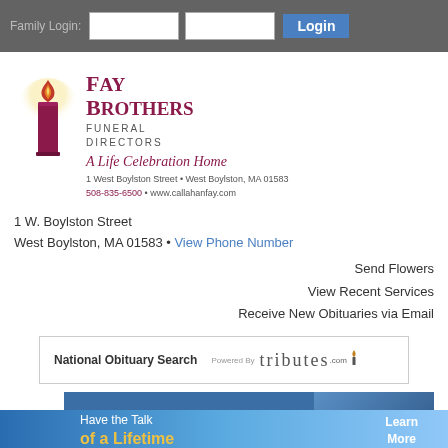Family Login: [input] [input] Login
[Figure (logo): Fay Brothers Funeral Directors logo with candle, tagline 'A Life Celebration Home', address 1 West Boylston Street, West Boylston, MA 01583, phone 508-835-6500, website www.callahanfay.com]
1 W. Boylston Street
West Boylston, MA 01583 • View Phone Number
Send Flowers
View Recent Services
Receive New Obituaries via Email
[Figure (infographic): National Obituary Search bar powered by tributes.com]
[Figure (infographic): Have the Talk of a Lifetime banner - Learn More button]